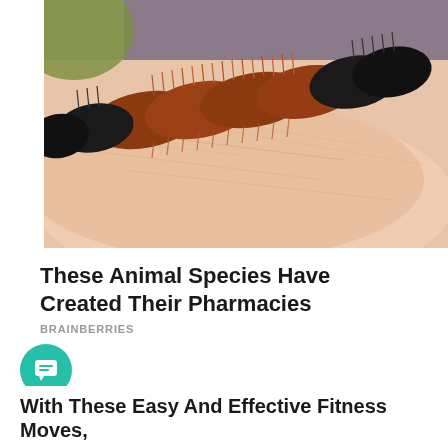[Figure (photo): Close-up photo of a woolly bear caterpillar (brown and black fuzzy caterpillar) resting on a human hand/skin, showing the fine hairs and skin texture]
These Animal Species Have Created Their Pharmacies
BRAINBERRIES
[Figure (other): Teal circular chat/message button with white speech bubble icon]
With These Easy And Effective Fitness Moves,